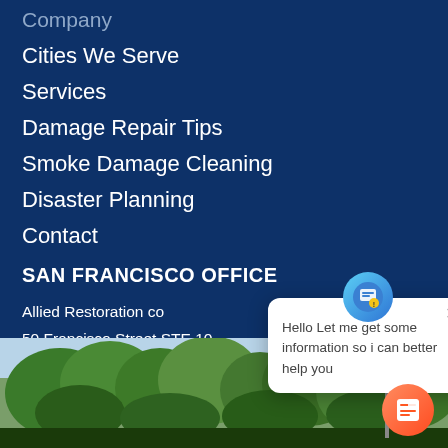Company
Cities We Serve
Services
Damage Repair Tips
Smoke Damage Cleaning
Disaster Planning
Contact
SAN FRANCISCO OFFICE
Allied Restoration co
50 Francisco Street STE 10
San Francisco CA 94103
Phone: (415) 767-1670
Hello Let me get some information so i can better help you
[Figure (photo): Outdoor street photo showing trees and buildings]